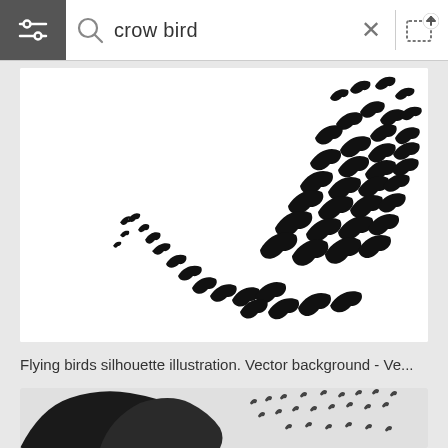crow bird
[Figure (illustration): Flying birds silhouette illustration on white background - a flock of crow bird silhouettes arranged in a sweeping arc pattern]
Flying birds silhouette illustration. Vector background - Ve...
[Figure (photo): Black and white photo of a large tree with crows flying away from it against a light sky]